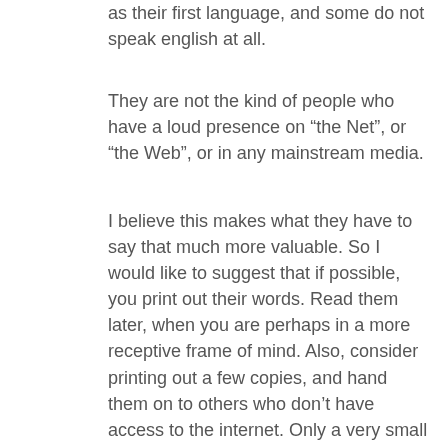as their first language, and some do not speak english at all.
They are not the kind of people who have a loud presence on “the Net”, or “the Web”, or in any mainstream media.
I believe this makes what they have to say that much more valuable. So I would like to suggest that if possible, you print out their words. Read them later, when you are perhaps in a more receptive frame of mind. Also, consider printing out a few copies, and hand them on to others who don’t have access to the internet. Only a very small percentage of people do.
Apologies to those who may have already read some of these statements on other lists.
This first statement comes from Kee Watchman, and is his address to: